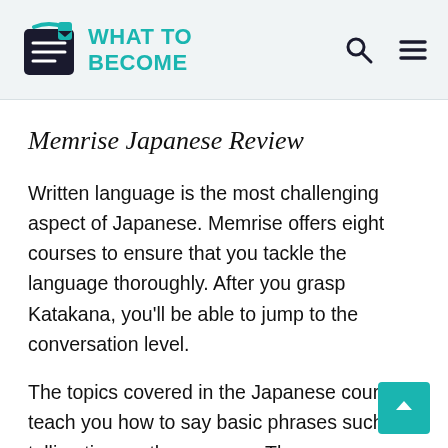WHAT TO BECOME
Memrise Japanese Review
Written language is the most challenging aspect of Japanese. Memrise offers eight courses to ensure that you tackle the language thoroughly. After you grasp Katakana, you'll be able to jump to the conversation level.
The topics covered in the Japanese courses teach you how to say basic phrases such as telling time or the seasons. The more advanced lessons deal with abstract topics, such as space